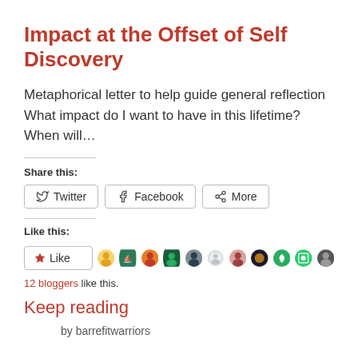Impact at the Offset of Self Discovery
Metaphorical letter to help guide general reflection What impact do I want to have in this lifetime? When will…
Share this:
[Figure (other): Share buttons: Twitter, Facebook, More]
Like this:
[Figure (other): Like button and 11 blogger avatar icons]
12 bloggers like this.
Keep reading
by barrefitwarriors